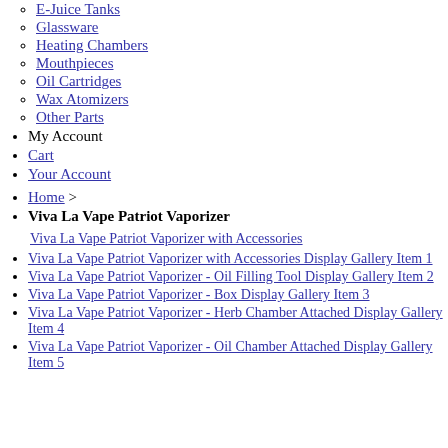E-Juice Tanks
Glassware
Heating Chambers
Mouthpieces
Oil Cartridges
Wax Atomizers
Other Parts
My Account
Cart
Your Account
Home >
Viva La Vape Patriot Vaporizer
[Figure (photo): Viva La Vape Patriot Vaporizer with Accessories]
Viva La Vape Patriot Vaporizer with Accessories Display Gallery Item 1
Viva La Vape Patriot Vaporizer - Oil Filling Tool Display Gallery Item 2
Viva La Vape Patriot Vaporizer - Box Display Gallery Item 3
Viva La Vape Patriot Vaporizer - Herb Chamber Attached Display Gallery Item 4
Viva La Vape Patriot Vaporizer - Oil Chamber Attached Display Gallery Item 5